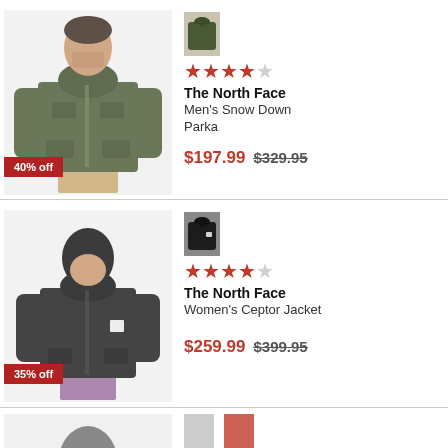[Figure (photo): Man wearing olive/dark green The North Face Men's Snow Down Parka, with 40% off badge]
[Figure (photo): Small thumbnail of olive green jacket]
★★★★☆
The North Face
Men's Snow Down Parka
$197.99  $329.95
[Figure (photo): Woman wearing black The North Face Women's Ceptor Jacket, with 35% off badge]
[Figure (photo): Small thumbnail of black jacket]
★★★★☆
The North Face
Women's Ceptor Jacket
$259.99  $399.95